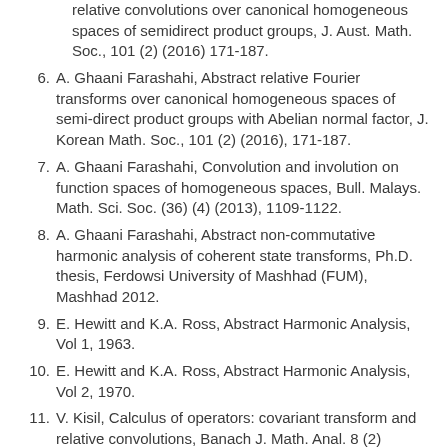(continuation) relative convolutions over canonical homogeneous spaces of semidirect product groups, J. Aust. Math. Soc., 101 (2) (2016) 171-187.
6. A. Ghaani Farashahi, Abstract relative Fourier transforms over canonical homogeneous spaces of semi-direct product groups with Abelian normal factor, J. Korean Math. Soc., 101 (2) (2016), 171-187.
7. A. Ghaani Farashahi, Convolution and involution on function spaces of homogeneous spaces, Bull. Malays. Math. Sci. Soc. (36) (4) (2013), 1109-1122.
8. A. Ghaani Farashahi, Abstract non-commutative harmonic analysis of coherent state transforms, Ph.D. thesis, Ferdowsi University of Mashhad (FUM), Mashhad 2012.
9. E. Hewitt and K.A. Ross, Abstract Harmonic Analysis, Vol 1, 1963.
10. E. Hewitt and K.A. Ross, Abstract Harmonic Analysis, Vol 2, 1970.
11. V. Kisil, Calculus of operators: covariant transform and relative convolutions, Banach J. Math. Anal. 8 (2)